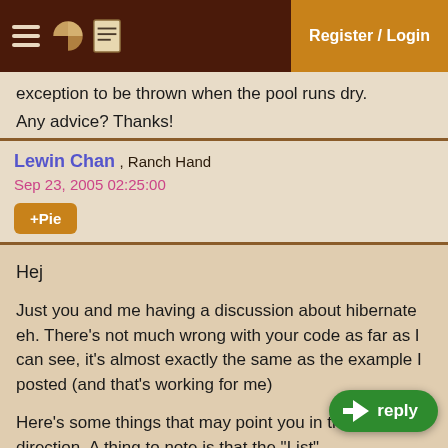Register / Login
exception to be thrown when the pool runs dry.
Any advice? Thanks!
Lewin Chan , Ranch Hand
Sep 23, 2005 02:25:00
+Pie
Hej
Just you and me having a discussion about hibernate eh. There's not much wrong with your code as far as I can see, it's almost exactly the same as the example I posted (and that's working for me)
Here's some things that may point you in the right direction. A thing to note is that the "List" AttributeCategory is probably a org.hibernate.PersistentList (or whatever). This is the thing with the reference to the session...